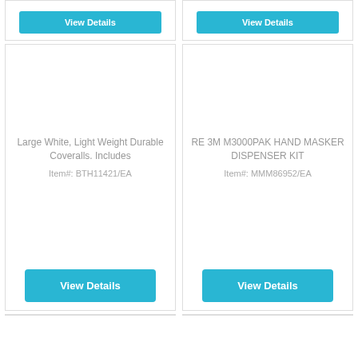[Figure (other): Top partial card left - truncated, showing cyan View Details button at top]
[Figure (other): Top partial card right - truncated, showing cyan View Details button at top]
Large White, Light Weight Durable Coveralls. Includes
Item#: BTH11421/EA
RE 3M M3000PAK HAND MASKER DISPENSER KIT
Item#: MMM86952/EA
View Details
View Details
[Figure (other): Bottom partial card left - truncated]
[Figure (other): Bottom partial card right - truncated]